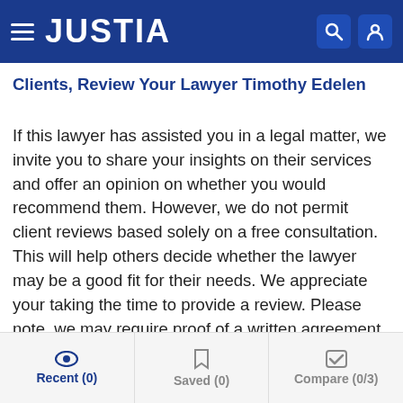JUSTIA
Clients, Review Your Lawyer Timothy Edelen
If this lawyer has assisted you in a legal matter, we invite you to share your insights on their services and offer an opinion on whether you would recommend them. However, we do not permit client reviews based solely on a free consultation. This will help others decide whether the lawyer may be a good fit for their needs. We appreciate your taking the time to provide a review. Please note, we may require proof of a written agreement to provide representation, such as an engagement letter, a retainer agreement, a court appointment order or notice, etc.
Recent (0)  Saved (0)  Compare (0/3)